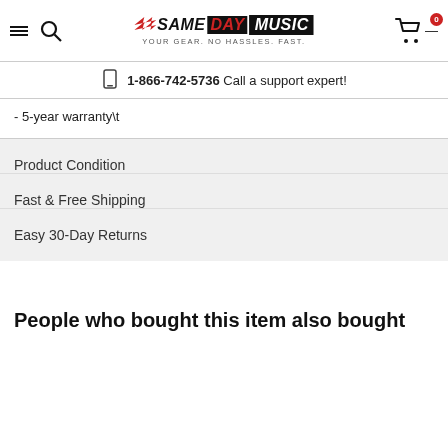Same Day Music — YOUR GEAR. NO HASSLES. FAST. | 1-866-742-5736 Call a support expert!
- 5-year warranty\t
Product Condition
Fast & Free Shipping
Easy 30-Day Returns
People who bought this item also bought